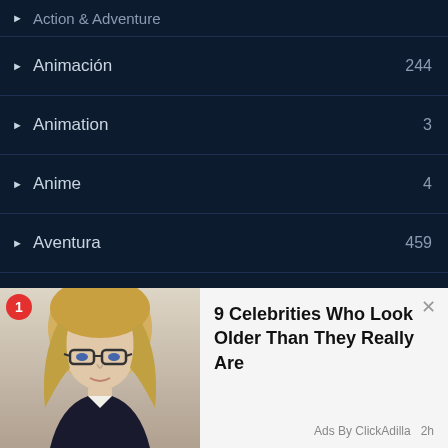Action & Adventure
Animación  244
Animation  3
Anime  4
Aventura  459
Bélica  1
Ciencia ficción  532
Comedia  892
Comedy  5
Cr…
Cr…
Deportes  3
[Figure (screenshot): Advertisement overlay showing a blonde woman with glasses and text: 9 Celebrities Who Look Older Than They Really Are. Ads By ClickAdilla.]